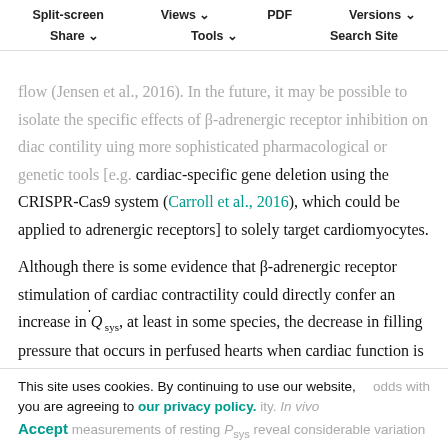Split-screen  Views  PDF  Versions  Share  Tools  Search Site
flow (Jensen et al., 2016). In the future, it may be possible to isolate the specific effects of β-adrenergic receptor inhibition on cardiac contractility using more sophisticated pharmacological or genetic tools [e.g. cardiac-specific gene deletion using the CRISPR-Cas9 system (Carroll et al., 2016), which could be applied to adrenergic receptors] to solely target cardiomyocytes.
Although there is some evidence that β-adrenergic receptor stimulation of cardiac contractility could directly confer an increase in Q̇sys, at least in some species, the decrease in filling pressure that occurs in perfused hearts when cardiac function is stimulated with adrenergic
This site uses cookies. By continuing to use our website, you are agreeing to our privacy policy. Accept
...odds with ...ity. In vivo measurements of resting Psys reveal considerable variation